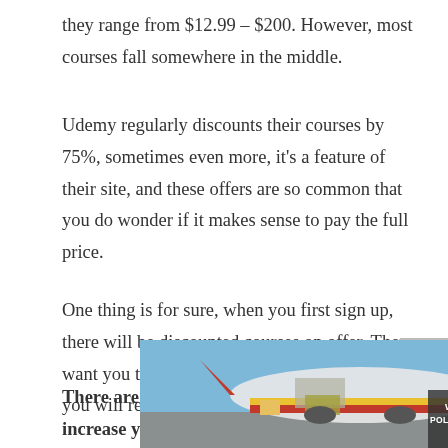they range from $12.99 – $200. However, most courses fall somewhere in the middle.
Udemy regularly discounts their courses by 75%, sometimes even more, it's a feature of their site, and these offers are so common that you do wonder if it makes sense to pay the full price.
One thing is for sure, when you first sign up, there will be discounted courses on offer. They want you to spend some money in the hope that you will return and pay the full price.
There are a number of things you can do to increase your chances of bagging a bargain. 1. Sign up for their newsletter to
[Figure (photo): Advertisement banner showing an airplane being loaded with cargo, with a dark overlay reading 'WITHOUT REGARD TO POLITICS, RELIGION, OR ABILITY TO PAY']